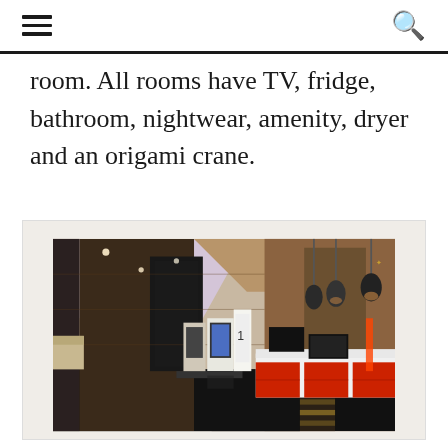room. All rooms have TV, fridge, bathroom, nightwear, amenity, dryer and an origami crane.
[Figure (photo): Interior photo of a modern hotel lobby with black glossy floors, wooden wall panels, pendant lights, a reception counter with red and white drawers, and self check-in kiosks in the background.]